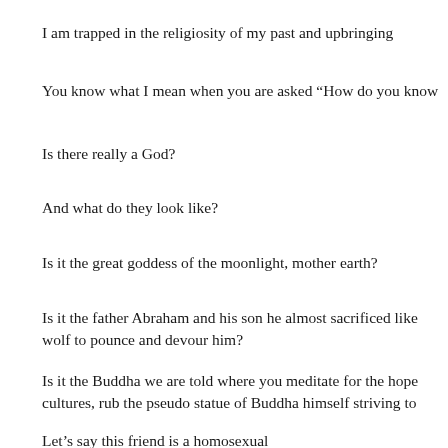I am trapped in the religiosity of my past and upbringing
You know what I mean when you are asked “How do you know
Is there really a God?
And what do they look like?
Is it the great goddess of the moonlight, mother earth?
Is it the father Abraham and his son he almost sacrificed like wolf to pounce and devour him?
Is it the Buddha we are told where you meditate for the hope cultures, rub the pseudo statue of Buddha himself striving to
Let’s say this friend is a homosexual